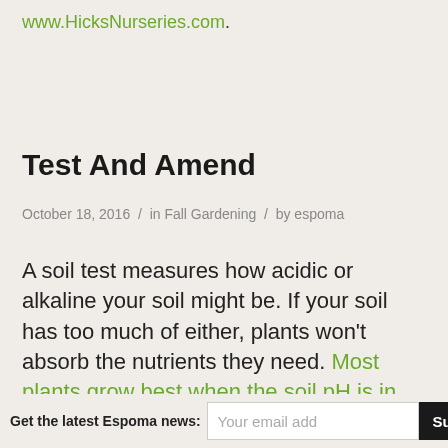www.HicksNurseries.com.
Test And Amend
October 18, 2016 / in Fall Gardening / by espoma
A soil test measures how acidic or alkaline your soil might be. If your soil has too much of either, plants won't absorb the nutrients they need. Most plants grow best when the soil pH is in near-neutral, between 6.0 and 7.0, but there are exceptions. Blueberries and potatoes, for example, love acidic soil, so a pH above 7.0 will not make them happy.
Get the latest Espoma news: [email input] Subscribe